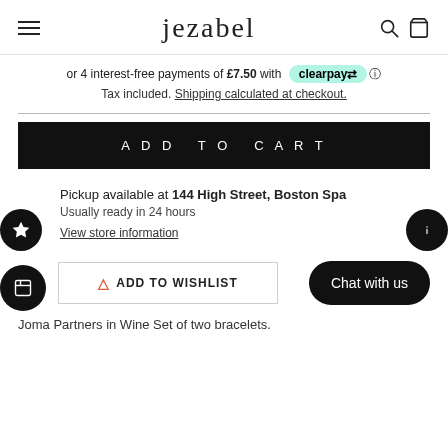jezabel
or 4 interest-free payments of £7.50 with clearpay
Tax included. Shipping calculated at checkout.
ADD TO CART
Pickup available at 144 High Street, Boston Spa
Usually ready in 24 hours
View store information
ADD TO WISHLIST
Chat with us
Joma Partners in Wine Set of two bracelets.